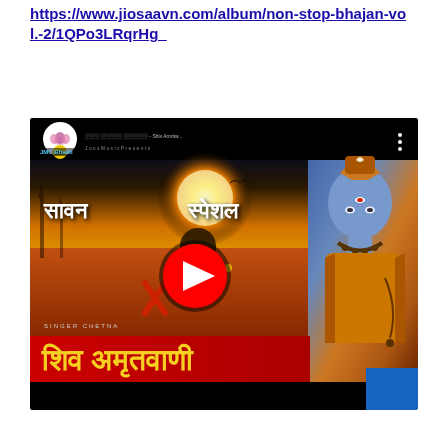https://www.jiosaavn.com/album/non-stop-bhajan-vol.-2/1QPo3LRqrHg_
[Figure (screenshot): YouTube video thumbnail for 'Shiv Amritwani' (शिव अमृतवाणी) - a Sawan Special bhajan by Singer Chetna, published by JMC Bhakti channel. The thumbnail shows a deity image of Lord Shiva on the right, a Shivalinga with offerings in the center, bold Hindi text 'सावन स्पेशल' at the top and 'शिव अमृतवाणी' on a red banner at the bottom. A YouTube play button is visible in the center. A blue block appears in the bottom-right corner.]